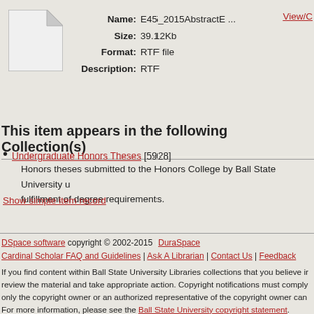[Figure (illustration): Generic file/document icon (white folded-corner page with grey border)]
Name: E45_2015AbstractE ...
Size: 39.12Kb
Format: RTF file
Description: RTF
View/C...
This item appears in the following Collection(s)
Undergraduate Honors Theses [5928]
Honors theses submitted to the Honors College by Ball State University u fulfillment of degree requirements.
Show simple item record
DSpace software copyright © 2002-2015  DuraSpace
Cardinal Scholar FAQ and Guidelines | Ask A Librarian | Contact Us | Feedback
If you find content within Ball State University Libraries collections that you believe ir review the material and take appropriate action. Copyright notifications must comply only the copyright owner or an authorized representative of the copyright owner can For more information, please see the Ball State University copyright statement.